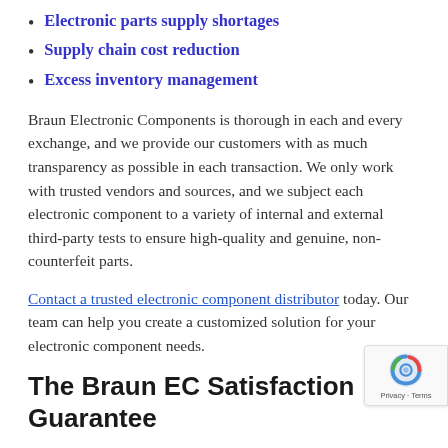Electronic parts supply shortages
Supply chain cost reduction
Excess inventory management
Braun Electronic Components is thorough in each and every exchange, and we provide our customers with as much transparency as possible in each transaction. We only work with trusted vendors and sources, and we subject each electronic component to a variety of internal and external third-party tests to ensure high-quality and genuine, non-counterfeit parts.
Contact a trusted electronic component distributor today. Our team can help you create a customized solution for your electronic component needs.
The Braun EC Satisfaction Guarantee
At Braun EC, we believe that you should be completely